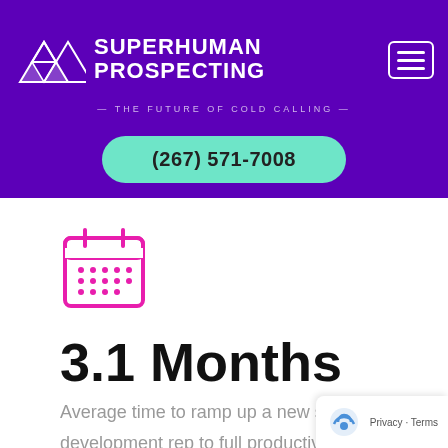[Figure (logo): Superhuman Prospecting logo with geometric triangle pattern on purple background, tagline: THE FUTURE OF COLD CALLING]
(267) 571-7008
[Figure (illustration): Pink calendar icon]
3.1 Months
Average time to ramp up a new sales development rep to full productivity*